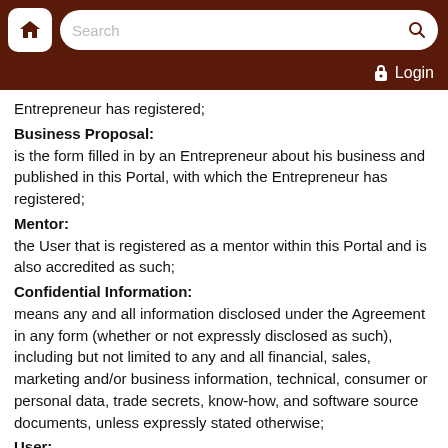Search  Login
Entrepreneur has registered;
Business Proposal:
is the form filled in by an Entrepreneur about his business and published in this Portal, with which the Entrepreneur has registered;
Mentor:
the User that is registered as a mentor within this Portal and is also accredited as such;
Confidential Information:
means any and all information disclosed under the Agreement in any form (whether or not expressly disclosed as such), including but not limited to any and all financial, sales, marketing and/or business information, technical, consumer or personal data, trade secrets, know-how, and software source documents, unless expressly stated otherwise;
User:
the natural person or (legal) entity that has registered with this Portal, either as a Mentor, Entrepreneur or an Investor and has entered into the Agreement;